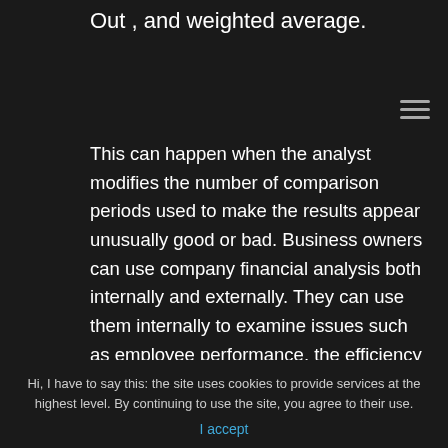Out , and weighted average.
This can happen when the analyst modifies the number of comparison periods used to make the results appear unusually good or bad. Business owners can use company financial analysis both internally and externally. They can use them internally to examine issues such as employee performance, the efficiency of operations and credit policies. They can use them externally to examine potential investments and the creditworthiness of
Hi, I have to say this: the site uses cookies to provide services at the highest level. By continuing to use the site, you agree to their use.
I accept